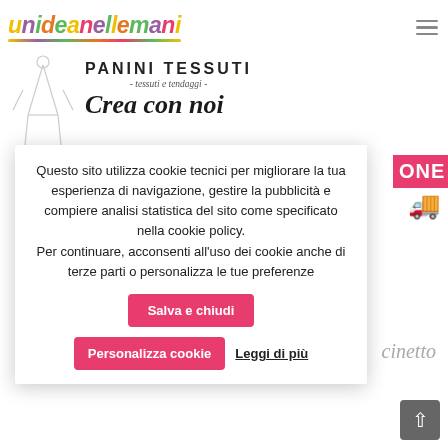unideanellemani [logo]
[Figure (illustration): Panini Tessuti banner with sketch illustration of a person and text 'PANINI TESSUTI - tessuti e tendaggi - Crea con noi']
ONE [partial, pink bar]
cinetto [partial italic text]
Questo sito utilizza cookie tecnici per migliorare la tua esperienza di navigazione, gestire la pubblicità e compiere analisi statistica del sito come specificato nella cookie policy. Per continuare, acconsenti all’uso dei cookie anche di terze parti o personalizza le tue preferenze
Salva e chiudi
Personalizza cookie
Leggi di più